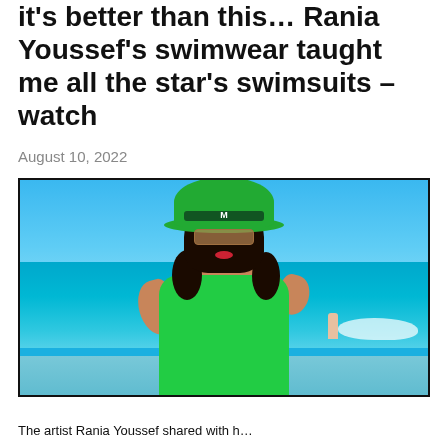it's better than this… Rania Youssef's swimwear taught me all the star's swimsuits – watch
August 10, 2022
[Figure (photo): Woman in green swimsuit and green cowboy hat with dark band marked 'M', wearing large mirrored sunglasses, standing at a beach with turquoise ocean and blue sky behind her.]
The artist Rania Youssef shared with h...